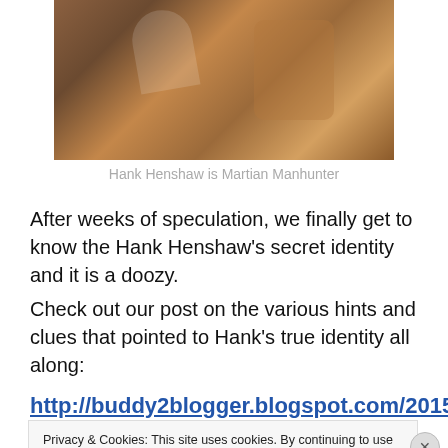[Figure (photo): A dark scene with characters, appears to be from a sci-fi/superhero production, showing Hank Henshaw as Martian Manhunter]
Hank Henshaw is Martian Manhunter
After weeks of speculation, we finally get to know the Hank Henshaw's secret identity and it is a doozy.
Check out our post on the various hints and clues that pointed to Hank's true identity all along:
http://buddy2blogger.blogspot.com/2015/12/hank-
Privacy & Cookies: This site uses cookies. By continuing to use this website, you agree to their use.
To find out more, including how to control cookies, see here: Cookie Policy